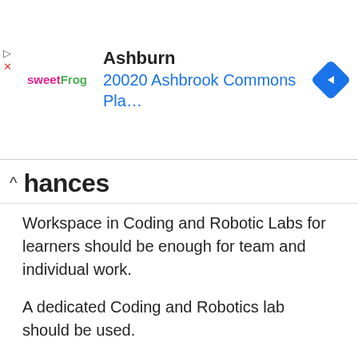[Figure (screenshot): Ad banner showing sweetFrog logo, 'Ashburn' heading, '20020 Ashbrook Commons Pla...' address in blue, and a blue diamond navigation icon on the right]
hances
Workspace in Coding and Robotic Labs for learners should be enough for team and individual work.
A dedicated Coding and Robotics lab should be used.
The school must procure basic robotics components, which will include a selection of basic Electronic and Mechanical components etc. Procurement of LTSM resources should be based on needs analyses from the